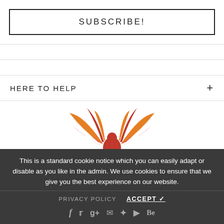SUBSCRIBE!
HERE TO HELP
[Figure (logo): Rising Phoenix logo — red/orange phoenix bird spreading wings upward, with 'Rising Phoenix' text below in dark italic font]
This is a standard cookie notice which you can easily adapt or disable as you like in the admin. We use cookies to ensure that we give you the best experience on our website.
PRIVACY POLICY   ACCEPT ✓
f  twitter  g+  instagram  pinterest  youtube  Be